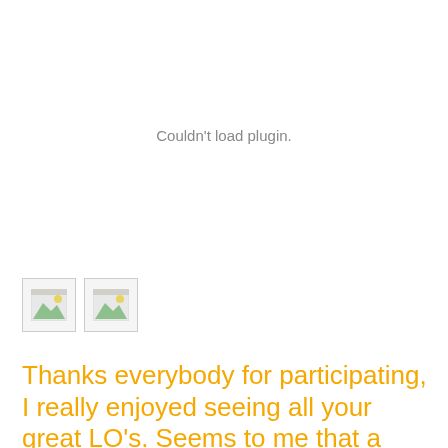Couldn't load plugin.
[Figure (illustration): Two small image placeholder icons with landscape/photo thumbnails]
Thanks everybody for participating, I really enjoyed seeing all your great LO's. Seems to me that a sketch challenge is one of the favourite kinds of challenges and therefore I